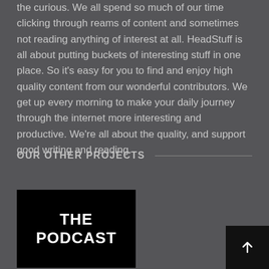the curious. We all spend so much of our time clicking through reams of content and sometimes not reading anything of interest at all. HeadStuff is all about putting buckets of interesting stuff in one place. So it's easy for you to find and enjoy high quality content from our wonderful contributors. We get up every morning to make your daily journey through the internet more interesting and productive. We're all about the quality, and support good writing and reading.
OUR OTHER PROJECTS
[Figure (other): Black card with white bold text reading 'THE PODCAST']